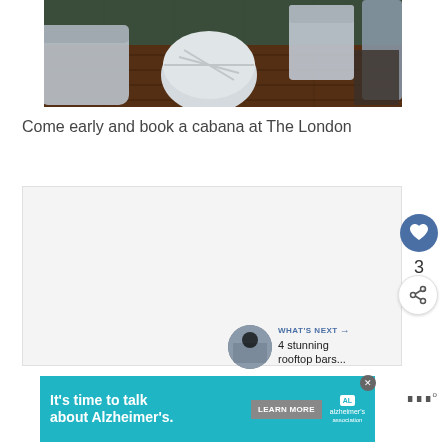[Figure (photo): Interior photo of a rooftop lounge or cabana area with white patio furniture including chairs and a round white coffee table on dark wood floors. Dark teal/green wall visible in background.]
Come early and book a cabana at The London
[Figure (screenshot): White content area with social interaction buttons on the right side: a heart/like button (blue circle), count of 3, and a share button. Below is a 'WHAT'S NEXT' card showing a thumbnail and text '4 stunning rooftop bars...']
[Figure (photo): Advertisement banner for Alzheimer's Association: 'It's time to talk about Alzheimer's.' with a LEARN MORE button and the Alzheimer's Association logo on a teal background.]